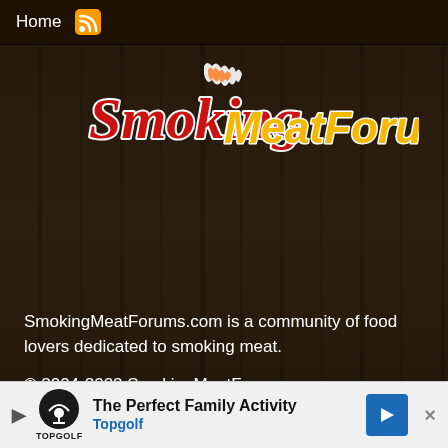Home
[Figure (logo): SmokingMeatForums.com logo with red cursive 'Smoking' text with flames and yellow bold italic 'MeatForums.com' text]
SmokingMeatForums.com is a community of food lovers dedicated to smoking meat.
© 2004-2022 SmokingMeatForums.com
WHAT'S NEW
New posts
[Figure (screenshot): Advertisement banner: The Perfect Family Activity - Topgolf]